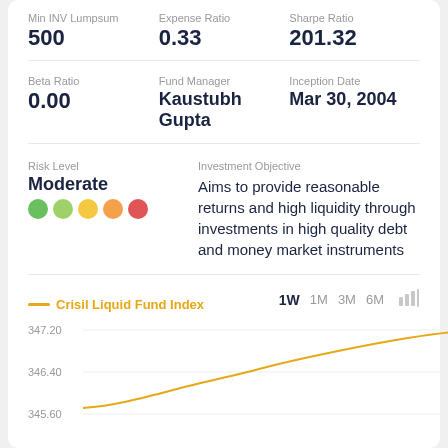Min INV Lumpsum: 500
Expense Ratio: 0.33
Sharpe Ratio: 201.32
Beta Ratio: 0.00
Fund Manager: Kaustubh Gupta
Inception Date: Mar 30, 2004
Risk Level: Moderate
Investment Objective: Aims to provide reasonable returns and high liquidity through investments in high quality debt and money market instruments
[Figure (line-chart): Crisil Liquid Fund Index]